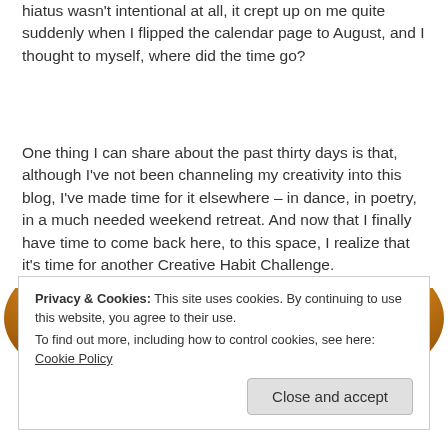hiatus wasn't intentional at all, it crept up on me quite suddenly when I flipped the calendar page to August, and I thought to myself, where did the time go?
One thing I can share about the past thirty days is that, although I've not been channeling my creativity into this blog, I've made time for it elsewhere – in dance, in poetry, in a much needed weekend retreat. And now that I finally have time to come back here, to this space, I realize that it's time for another Creative Habit Challenge.
[Figure (photo): Partial view of a golden-yellow pretzel or baked good, cropped, showing top portion with golden brown texture]
Privacy & Cookies: This site uses cookies. By continuing to use this website, you agree to their use.
To find out more, including how to control cookies, see here: Cookie Policy
Close and accept